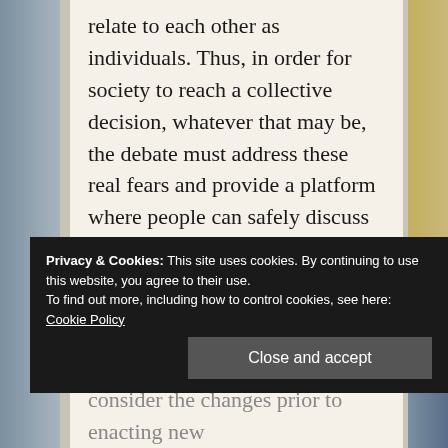relate to each other as individuals. Thus, in order for society to reach a collective decision, whatever that may be, the debate must address these real fears and provide a platform where people can safely discuss this change at a legal and experiential level.
Since legalising abortion would directly affect people's lives and impact the core of social and intimate relations, politicians must come up with policies that are
Privacy & Cookies: This site uses cookies. By continuing to use this website, you agree to their use.
To find out more, including how to control cookies, see here: Cookie Policy
consider the changes prior to enacting new